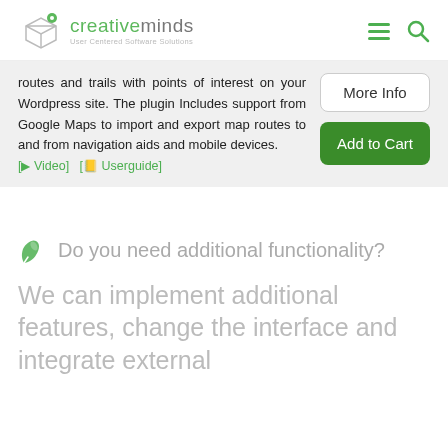creativeminds - User Centered Software Solutions
routes and trails with points of interest on your Wordpress site. The plugin Includes support from Google Maps to import and export map routes to and from navigation aids and mobile devices.
[Video] [Userguide]
More Info
Add to Cart
Do you need additional functionality?
We can implement additional features, change the interface and integrate external